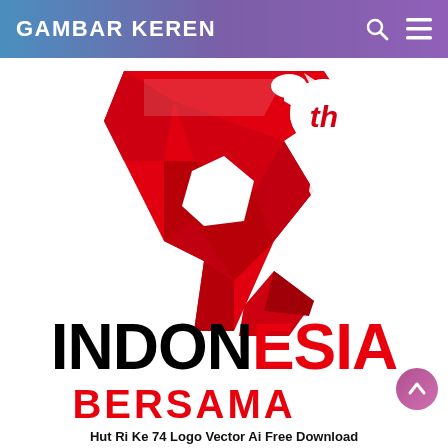GAMBAR KEREN
[Figure (logo): HUT RI Ke-74 Indonesia logo with a large red stylized number 74 combined with a rooster/garuda motif, white background, with '74th' text in a circle badge. Below the graphic: INDONESIA BERSAMA text.]
Hut Ri Ke 74 Logo Vector Ai Free Download